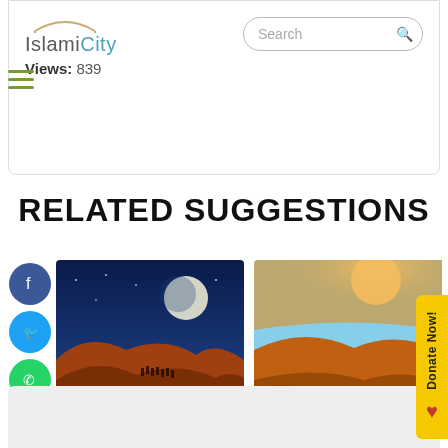IslamiCity | Views: 839
RELATED SUGGESTIONS
[Figure (photo): Desert landscape at night with moon and camel caravan silhouette on sand dunes]
Sacred Emigration
[Figure (photo): Desert sand dunes at sunset with bright sun and warm orange light]
History of Hijrah: Migration for Peace and Justice